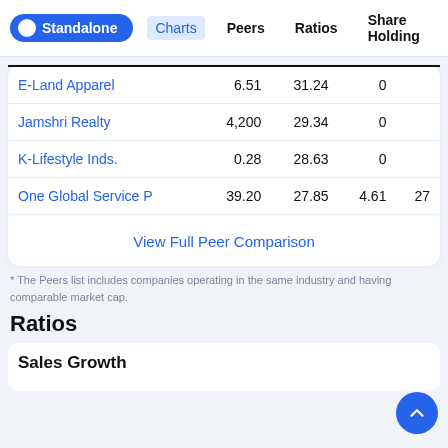Standalone | Charts | Peers | Ratios | Share Holding
| Company | Col1 | Col2 | Col3 | Col4 |
| --- | --- | --- | --- | --- |
| E-Land Apparel | 6.51 | 31.24 | 0 |  |
| Jamshri Realty | 4,200 | 29.34 | 0 |  |
| K-Lifestyle Inds. | 0.28 | 28.63 | 0 |  |
| One Global Service P | 39.20 | 27.85 | 4.61 | 27 |
View Full Peer Comparison
* The Peers list includes companies operating in the same industry and having comparable market cap.
Ratios
Sales Growth